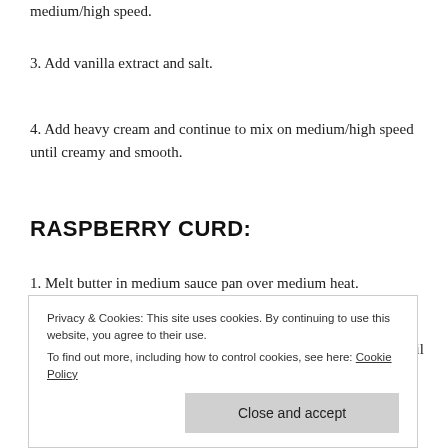medium/high speed.
3. Add vanilla extract and salt.
4. Add heavy cream and continue to mix on medium/high speed until creamy and smooth.
RASPBERRY CURD:
1. Melt butter in medium sauce pan over medium heat.
2. Add sugar, raspberries, egg yolks, and salt. Stir constantly until sugar is dissolved and raspberries are completely
Privacy & Cookies: This site uses cookies. By continuing to use this website, you agree to their use.
To find out more, including how to control cookies, see here: Cookie Policy
Close and accept